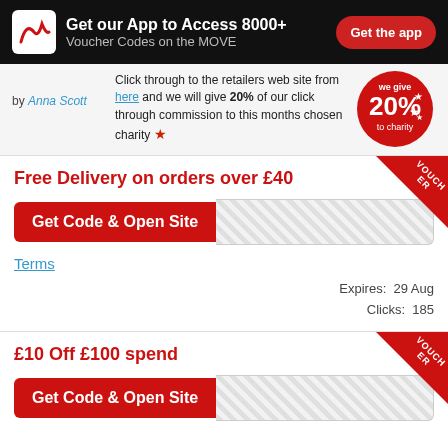Get our App to Access 8000+ Voucher Codes on the MOVE | Get the app
by Anna Scott
Click through to the retailers web site from here and we will give 20% of our click through commission to this months chosen charity ★ we give 20% to charity
Free Delivery on orders over £40
[Figure (other): Get Code & Open Site button with hatched code area]
Terms
Expires: 29 Aug
Clicks: 185
£10 Off £100 spend
[Figure (other): Get Code & Open Site button with hatched code area (partially visible)]